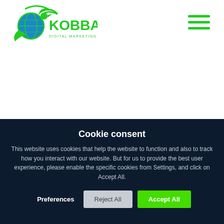[Figure (logo): Kobba Digital Marketing Agency logo — green bird/globe icon with green text 'KOBBA' and subtitle 'DIGITAL MARKETING AGENCY']
[Figure (other): Hamburger menu icon — three horizontal green lines]
Cookie consent
This website uses cookies that help the website to function and also to track how you interact with our website. But for us to provide the best user experience, please enable the specific cookies from Settings, and click on Accept All.
Preferences
Reject All
Accept All